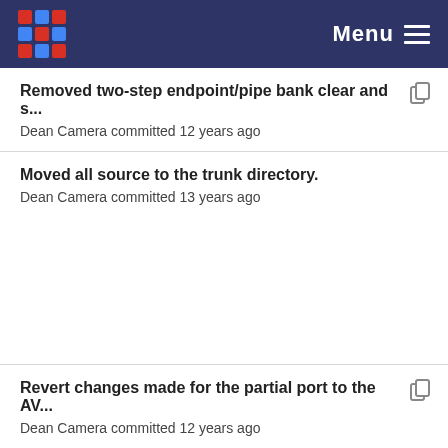Menu
Removed two-step endpoint/pipe bank clear and s...
Dean Camera committed 12 years ago
Moved all source to the trunk directory.
Dean Camera committed 13 years ago
Revert changes made for the partial port to the AV...
Dean Camera committed 12 years ago
Moved all source to the trunk directory.
Dean Camera committed 13 years ago
Spell check all source code variables, comments ...
Dean Camera committed 12 years ago
Moved all source to the trunk directory.
Dean Camera committed 13 years ago